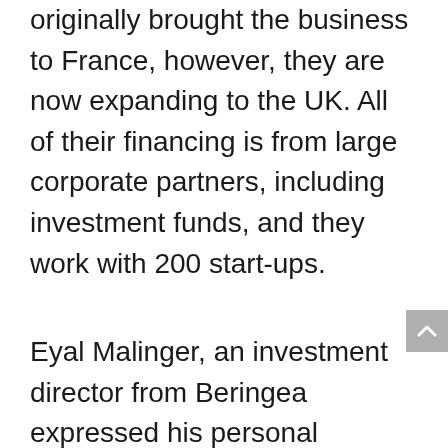originally brought the business to France, however, they are now expanding to the UK. All of their financing is from large corporate partners, including investment funds, and they work with 200 start-ups.
Eyal Malinger, an investment director from Beringea expressed his personal interests in the sector, the challenges that start-ups have and how best to collaborate with different organisations. They currently manage over $600 billion between funds. The call themselves early-growth investors and routinely invest